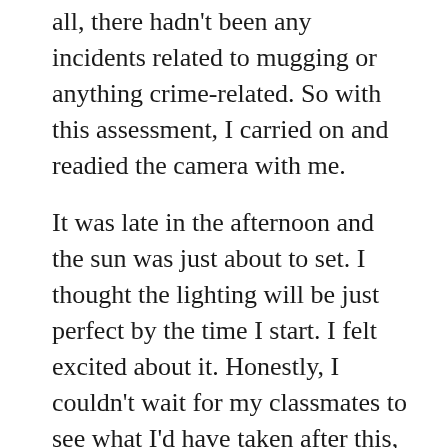all, there hadn't been any incidents related to mugging or anything crime-related. So with this assessment, I carried on and readied the camera with me.
It was late in the afternoon and the sun was just about to set. I thought the lighting will be just perfect by the time I start. I felt excited about it. Honestly, I couldn't wait for my classmates to see what I'd have taken after this, and I could already imagine their faces when we meet that coming Monday. Looking back at it now, I guess I thought I wanted to brag about how much I had improved with my photography skills to land an impression among them. Besides, I had nothing to do at home, and I didn't want